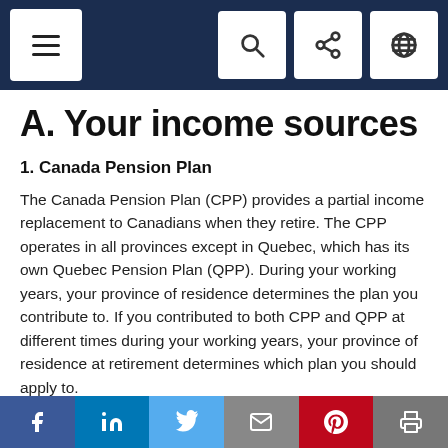Navigation bar with menu, search, share, and language icons
A. Your income sources
1. Canada Pension Plan
The Canada Pension Plan (CPP) provides a partial income replacement to Canadians when they retire. The CPP operates in all provinces except in Quebec, which has its own Quebec Pension Plan (QPP). During your working years, your province of residence determines the plan you contribute to. If you contributed to both CPP and QPP at different times during your working years, your province of residence at retirement determines which plan you should apply to.
Social sharing bar: Facebook, LinkedIn, Twitter, Email, Pinterest, Print